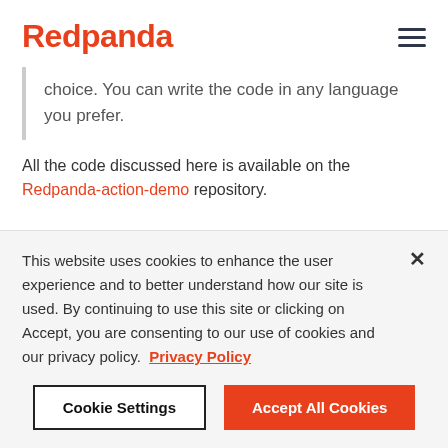Redpanda
choice. You can write the code in any language you prefer.
All the code discussed here is available on the Redpanda-action-demo repository.
This website uses cookies to enhance the user experience and to better understand how our site is used. By continuing to use this site or clicking on Accept, you are consenting to our use of cookies and our privacy policy. Privacy Policy
Cookie Settings
Accept All Cookies